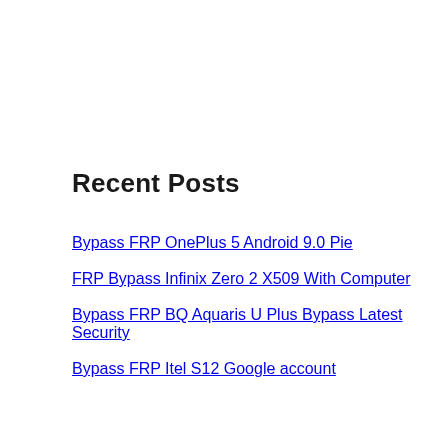Recent Posts
Bypass FRP OnePlus 5 Android 9.0 Pie
FRP Bypass Infinix Zero 2 X509 With Computer
Bypass FRP BQ Aquaris U Plus Bypass Latest Security
Bypass FRP Itel S12 Google account